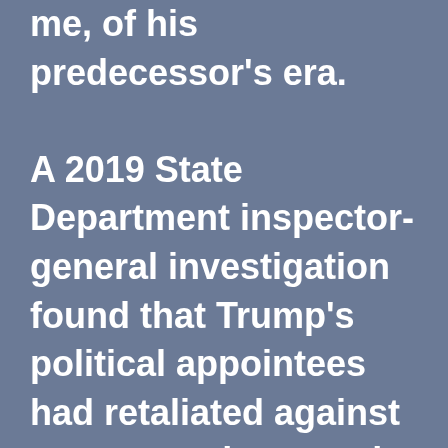me, of his predecessor's era. A 2019 State Department inspector-general investigation found that Trump's political appointees had retaliated against career employees who typically serve under Administrations of both parties.